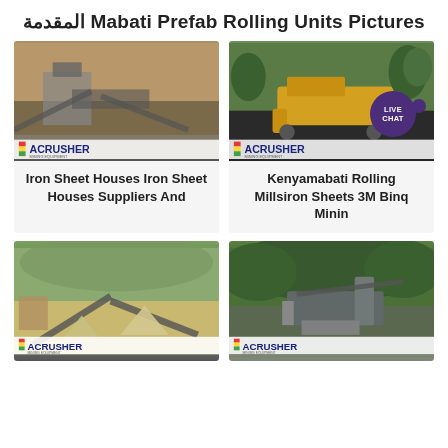المقدمة Mabati Prefab Rolling Units Pictures
[Figure (photo): Quarry/mining crushing plant with conveyor belts and processing equipment in rocky landscape, ACRUSHER logo overlay at bottom]
[Figure (photo): Yellow mobile crushing/rolling unit on dark ground with trees in background, ACRUSHER logo overlay at bottom, LIVE CHAT bubble in top right corner]
Iron Sheet Houses Iron Sheet Houses Suppliers And
Kenyamabati Rolling Millsiron Sheets 3M Binq Minin
[Figure (photo): Large crushing and screening plant with conveyor belts and sand piles, green hills in background, ACRUSHER logo overlay at bottom]
[Figure (photo): Industrial crushing/processing machinery on hillside with dense green trees in background, ACRUSHER logo overlay at bottom]